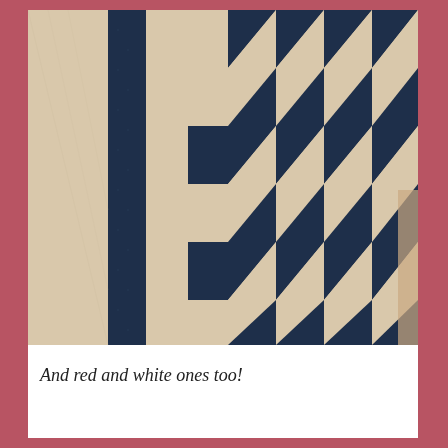[Figure (photo): A navy blue and cream/beige quilt with a geometric triangular pattern arranged in diagonal stair-step formation, displayed hanging vertically. The pattern creates pinwheel-like shapes from right triangles in alternating navy and cream colors.]
And red and white ones too!